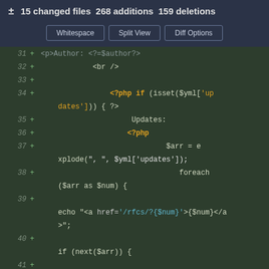± 15 changed files  268 additions  159 deletions
[Figure (screenshot): GitHub diff view toolbar with Whitespace, Split View, and Diff Options buttons]
[Figure (screenshot): Code diff showing PHP lines 31-42 with additions marked by +, including PHP template code with $yml array access, foreach loop, and echo statements]